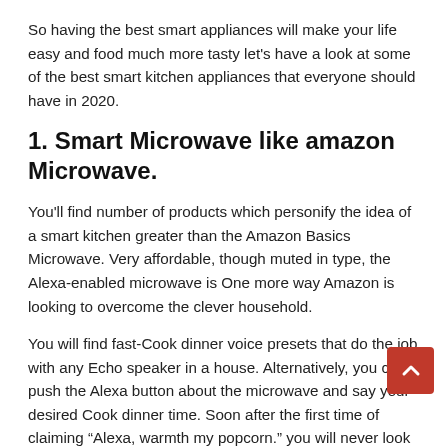So having the best smart appliances will make your life easy and food much more tasty let's have a look at some of the best smart kitchen appliances that everyone should have in 2020.
1. Smart Microwave like amazon Microwave.
You'll find number of products which personify the idea of a smart kitchen greater than the Amazon Basics Microwave. Very affordable, though muted in type, the Alexa-enabled microwave is One more way Amazon is looking to overcome the clever household.
You will find fast-Cook dinner voice presets that do the job with any Echo speaker in a house. Alternatively, you can push the Alexa button about the microwave and say your desired Cook dinner time. Soon after the first time of claiming “Alexa, warmth my popcorn.” you will never look at another microwave the exact same once more. To be a bonus, Amazon is now presenting as much as 10% off on popcorn reorders to help you take pleasure in the voice-